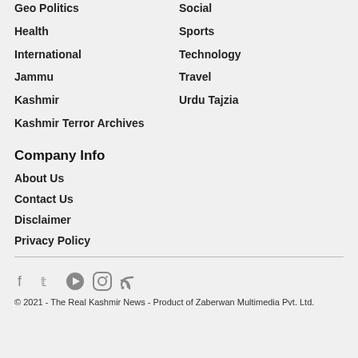Geo Politics
Social
Health
Sports
International
Technology
Jammu
Travel
Kashmir
Urdu Tajzia
Kashmir Terror Archives
Company Info
About Us
Contact Us
Disclaimer
Privacy Policy
[Figure (other): Social media icons: Facebook, Twitter, YouTube, Instagram, RSS]
© 2021 - The Real Kashmir News - Product of Zaberwan Multimedia Pvt. Ltd.